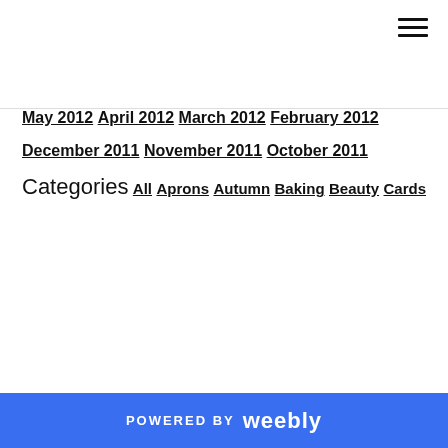May 2012
April 2012
March 2012
February 2012
December 2011
November 2011
October 2011
Categories
All
Aprons
Autumn
Baking
Beauty
Cards
POWERED BY weebly